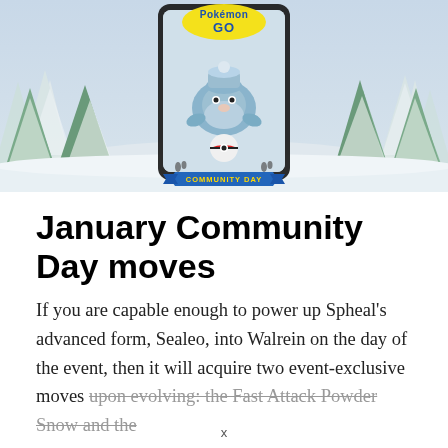[Figure (photo): Pokémon GO Community Day promotional banner featuring a winter snowy landscape with pine trees covered in snow, a smartphone frame in the center showing a Spheal Pokémon and a Poké Ball, with the Pokémon GO logo at the top and a 'Community Day' ribbon banner at the bottom of the phone frame.]
January Community Day moves
If you are capable enough to power up Spheal's advanced form, Sealeo, into Walrein on the day of the event, then it will acquire two event-exclusive moves upon evolving: the Fast Attack Powder Snow and the